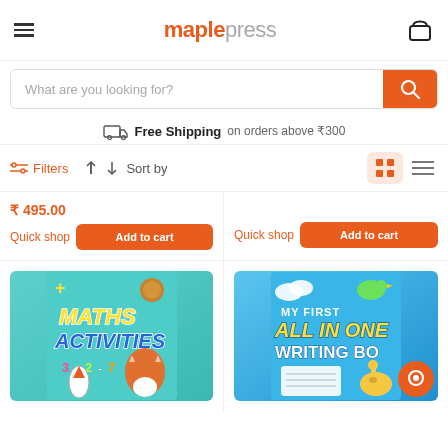maplepress — hamburger menu and cart icon
What are you looking for?
Free Shipping on orders above ₹300
Filters  Sort by
₹ 495.00
Quick shop   Add to cart
Quick shop   Add to cart
[Figure (illustration): Book cover: Maths Activities — colorful children's book with rocket, fox, and math symbols on teal background]
[Figure (illustration): Book cover: My First All In One Writing Book — children's book on blue background with writing worksheets]